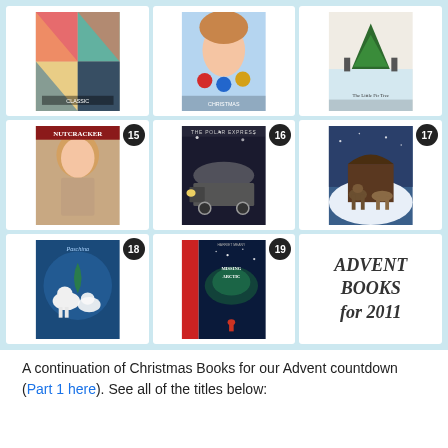[Figure (photo): 3x3 grid of book covers on light blue background. Row 1: book 1 (colorful/abstract cover), book 2 (child with Christmas ornaments), book 3 (The Little Fir Tree). Row 2: book 15 (Nutcracker - girl with long hair), book 16 (The Polar Express - train), book 17 (Christmas Story - animals in snow). Row 3: book 18 (Paschina - white animals on blue), book 19 (Midnight Arctic? - figure in dark blue/red), box with text 'ADVENT BOOKS for 2011'.]
A continuation of Christmas Books for our Advent countdown (Part 1 here). See all of the titles below: